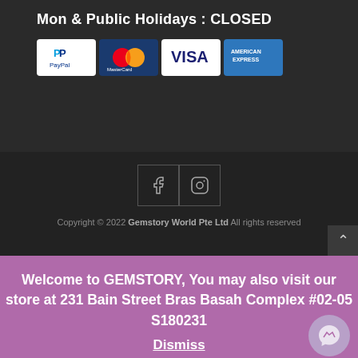Mon & Public Holidays : CLOSED
[Figure (logo): Payment method logos: PayPal, MasterCard, Visa, American Express]
[Figure (infographic): Social media icons: Facebook and Instagram buttons]
Copyright © 2022 Gemstory World Pte Ltd All rights reserved
Welcome to GEMSTORY, You may also visit our store at 231 Bain Street Bras Basah Complex #02-05 S180231
Dismiss